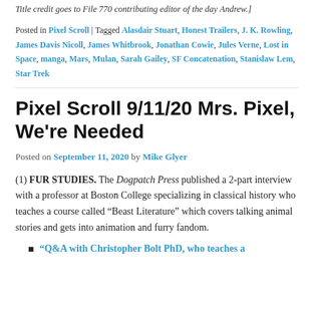Title credit goes to File 770 contributing editor of the day Andrew.]
Posted in Pixel Scroll | Tagged Alasdair Stuart, Honest Trailers, J. K. Rowling, James Davis Nicoll, James Whitbrook, Jonathan Cowie, Jules Verne, Lost in Space, manga, Mars, Mulan, Sarah Gailey, SF Concatenation, Stanislaw Lem, Star Trek
Pixel Scroll 9/11/20 Mrs. Pixel, We're Needed
Posted on September 11, 2020 by Mike Glyer
(1) FUR STUDIES. The Dogpatch Press published a 2-part interview with a professor at Boston College specializing in classical history who teaches a course called “Beast Literature” which covers talking animal stories and gets into animation and furry fandom.
“Q&A with Christopher Bolt PhD, who teaches a